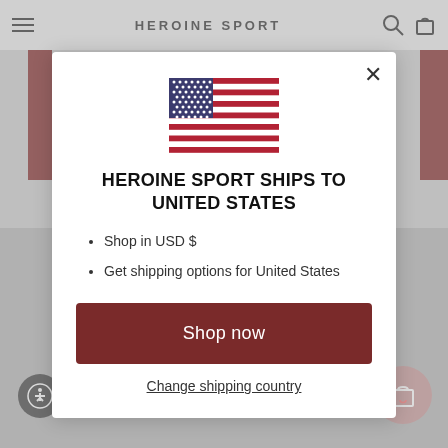[Figure (screenshot): Website navigation bar with hamburger menu, HEROINE SPORT brand name, search and cart icons]
[Figure (screenshot): US flag SVG illustration centered in modal]
HEROINE SPORT SHIPS TO UNITED STATES
Shop in USD $
Get shipping options for United States
Shop now
Change shipping country